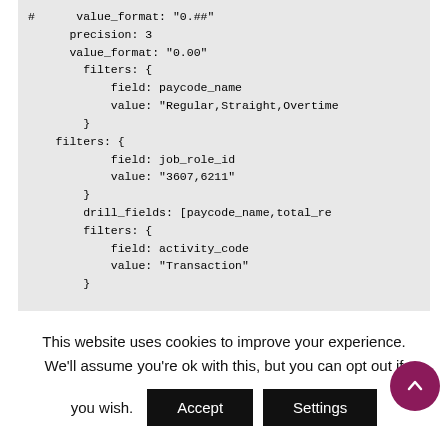[Figure (screenshot): Code block showing YAML/LookML configuration with value_format, precision, filters, drill_fields settings]
This website uses cookies to improve your experience. We'll assume you're ok with this, but you can opt out if you wish.